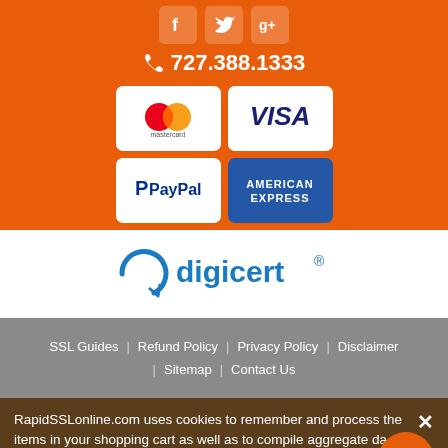[Figure (infographic): Social media icons (Facebook, Twitter, Google+) on orange background]
727.388.1333
[Figure (logo): Mastercard logo - two overlapping circles red and orange with text 'mastercard']
[Figure (logo): VISA logo in dark blue text on white background]
[Figure (logo): PayPal logo - blue P with 'PayPal' text]
[Figure (logo): American Express logo - blue/dark background with 'AMERICAN EXPRESS' text]
[Figure (logo): DigiCert logo in blue on white background]
SSL Guides | Refund Policy | Privacy Policy | Disclaimer | Sitemap | Contact Us
RapidSSLonline.com uses cookies to remember and process the items in your shopping cart as well as to compile aggregate data about site traffic and interactions so that we can continue improving your experience on our site. Learn more about Cookies
[Figure (logo): TrustedSite Certified Secure badge]